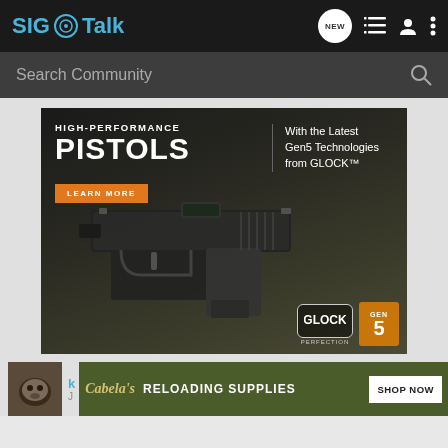SIG Talk
Search Community
[Figure (screenshot): Advertisement for GLOCK High-Performance Pistols with Gen5 Technologies. Features a dark background with a GLOCK pistol image, text reading HIGH-PERFORMANCE PISTOLS, With the Latest Gen5 Technologies from GLOCK, a LEARN MORE orange button, and GLOCK PERFECTION and GEN 5 logos at bottom right.]
[Figure (screenshot): Cabela's advertisement banner with olive green background, Cabela's logo in script, RELOADING SUPPLIES text, and SHOP NOW button.]